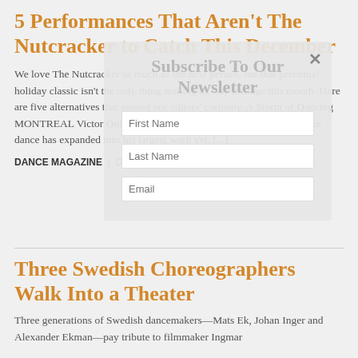5 Performances That Aren't The Nutcracker to Catch This December
We love The Nutcracker as much as the next person, but that perennial holiday classic isn't the only thing making its way onstage this month. Here are five alternatives that piqued our editors' curiosity. A Storm of Dancing MONTREAL Victor Quijada's hypnotic style of gliding, floating urban dance has expanded into his largest work yet. [...]
DANCE MAGAZINE | December 4th, 2018
[Figure (screenshot): Newsletter subscription overlay with fields for First Name, Last Name, and Email, and a close (×) button in top right]
Three Swedish Choreographers Walk Into a Theater
Three generations of Swedish dancemakers—Mats Ek, Johan Inger and Alexander Ekman—pay tribute to filmmaker Ingmar